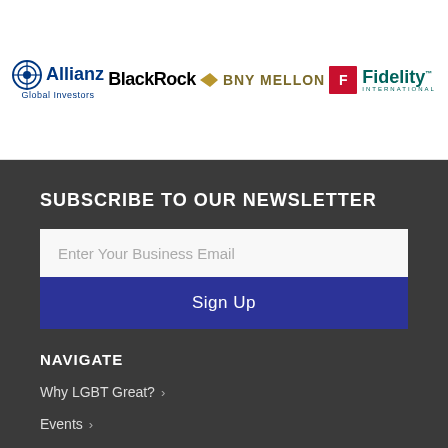[Figure (logo): Allianz Global Investors logo]
[Figure (logo): BlackRock logo]
[Figure (logo): BNY Mellon logo]
[Figure (logo): Fidelity International logo]
SUBSCRIBE TO OUR NEWSLETTER
Enter Your Business Email
Sign Up
NAVIGATE
Why LGBT Great? >
Events >
News >
Member Forums >